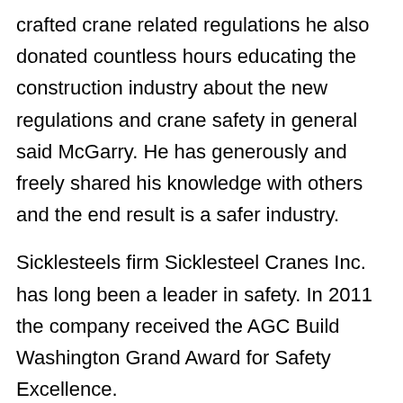crafted crane related regulations he also donated countless hours educating the construction industry about the new regulations and crane safety in general said McGarry. He has generously and freely shared his knowledge with others and the end result is a safer industry.
Sicklesteels firm Sicklesteel Cranes Inc. has long been a leader in safety. In 2011 the company received the AGC Build Washington Grand Award for Safety Excellence.
Lombroia was awarded Affiliate of the Year honors for her efforts to improve AGCs education and networking opportunities.
Annie facilitates Ashbaugh Beals generous sponsorship of